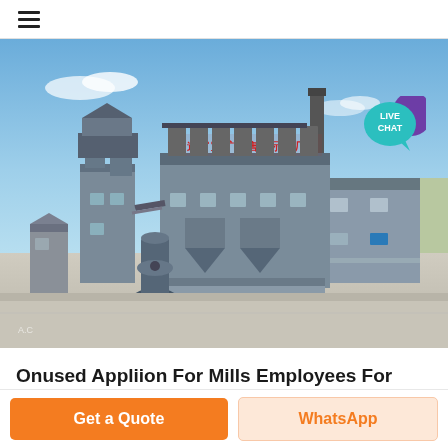≡ (hamburger menu)
[Figure (photo): Aerial/elevated view of an industrial grinding mill or processing plant facility. Large grey multi-story factory building with yellow Chinese text signage on top, dust collectors and filter units on roof, a tall chimney stack, conveyor systems, silos, and a vertical roller mill visible in the foreground. Blue sky with light clouds in background. A 'LIVE CHAT' bubble overlay is visible in the upper right.]
Onused Appliion For Mills Employees For Lottery
Get a Quote
WhatsApp